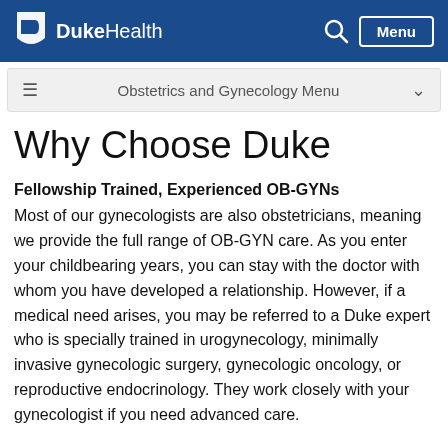DukeHealth
Obstetrics and Gynecology Menu
Why Choose Duke
Fellowship Trained, Experienced OB-GYNs
Most of our gynecologists are also obstetricians, meaning we provide the full range of OB-GYN care. As you enter your childbearing years, you can stay with the doctor with whom you have developed a relationship. However, if a medical need arises, you may be referred to a Duke expert who is specially trained in urogynecology, minimally invasive gynecologic surgery, gynecologic oncology, or reproductive endocrinology. They work closely with your gynecologist if you need advanced care.